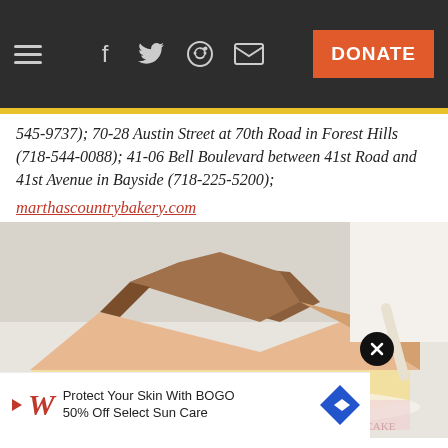Navigation bar with hamburger menu, social icons (Facebook, Twitter, Reddit, Email), and DONATE button
545-9737); 70-28 Austin Street at 70th Road in Forest Hills (718-544-0088); 41-06 Bell Boulevard between 41st Road and 41st Avenue in Bayside (718-225-5200); marthascountrybakery.com
[Figure (photo): Close-up photo of a slice of cake with cream frosting on a plate, partially cropped, with a Walgreens advertisement overlay at the bottom reading 'Protect Your Skin With BOGO 50% Off Select Sun Care']